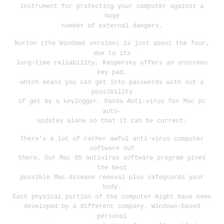instrument for protecting your computer against a huge number of external dangers.
Norton (the Windows version) is just about the four, due to its long-time reliability. Kaspersky offers an onscreen key pad, which means you can get into passwords with out a possibility of get by a keylogger. Panda Anti-virus for Mac pc auto-updates alone so that it can be current.
There's a lot of rather awful anti-virus computer software out there. Our Mac OS antivirus software program gives the best possible Mac disease removal plus safeguards your body. Each physical portion of the computer might have been developed by a different company. Windows-based personal computers are going to have fire wall enabled automatically. It will stay essential to defense your computer plus your self that has a good anti virus. As Apple pc computers keep growing in level of popularity, they've become attractive objectives for cyber-criminals. Mac OS X pcs have an incorporated firewall system referred to as Firewall», but is actually disabled by default and has to always be turned on to undertake the job.
If you receive the software, you've given typically the criminals your current charge card amount. It's very simple fast and simple to make use of antivirus application. The ESET Cyber